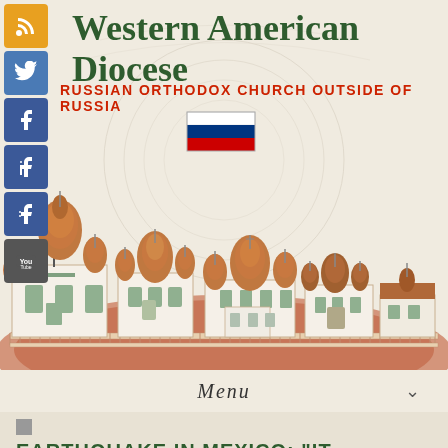[Figure (logo): Social media sidebar icons: RSS (orange), Twitter (blue), Facebook (blue), Facebook Like (blue), Facebook Share (blue), YouTube (dark grey)]
Western American Diocese
RUSSIAN ORTHODOX CHURCH OUTSIDE OF RUSSIA
[Figure (illustration): Russian flag (tricolor: white, blue, red horizontal stripes)]
[Figure (illustration): Illustration of Russian Orthodox cathedral skyline with onion domes, churches with gold/brown domes and white walls, set against a brown hill background with a decorative fence in front]
Menu
EARTHQUAKE IN MEXICO: "IT